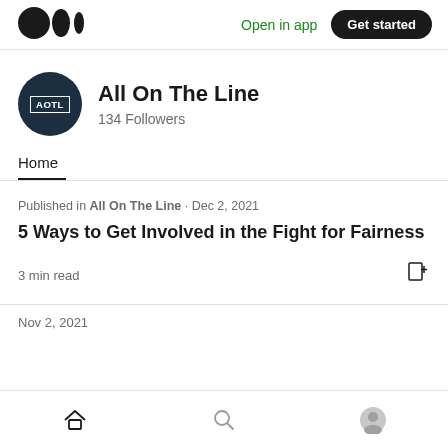Medium logo | Open in app | Get started
All On The Line
134 Followers
Home
Published in All On The Line · Dec 2, 2021
5 Ways to Get Involved in the Fight for Fairness
3 min read
Nov 2, 2021
Home | Search | Profile